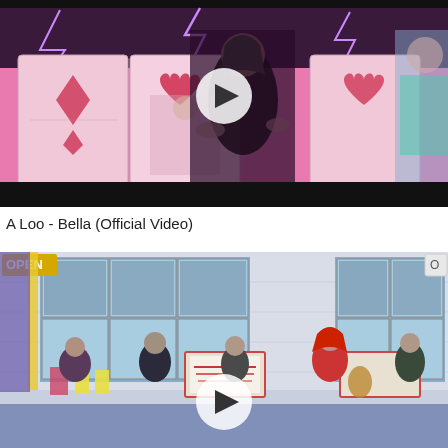[Figure (screenshot): Video thumbnail for 'A Loo - Bella (Official Video)' showing a person in dark clothing posing in front of large playing card imagery with pink/purple lighting and lightning effects. A white circular play button is centered on the thumbnail.]
A Loo - Bella (Official Video)
[Figure (screenshot): Video thumbnail showing a TV talk show set with 'OPEN' branding. Several people are seated at a long table in a bright studio with large windows showing a cityscape. A white circular play button is centered on the thumbnail.]